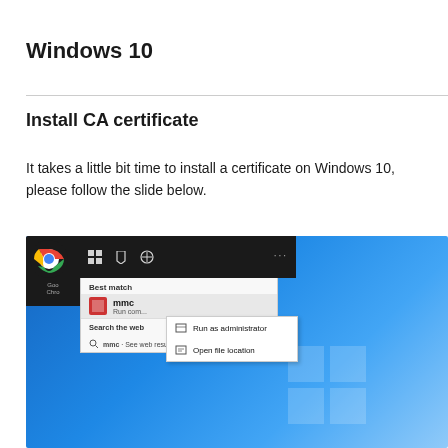Windows 10
Install CA certificate
It takes a little bit time to install a certificate on Windows 10, please follow the slide below.
[Figure (screenshot): Screenshot of Windows 10 desktop showing a Windows Search result for 'mmc' with a context menu open displaying 'Run as administrator' and 'Open file location' options.]